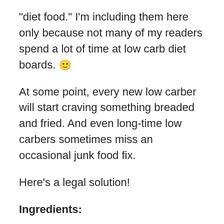“diet food.”  I’m including them here only because not many of my readers spend a lot of time at low carb diet boards.  🙂
At some point, every new low carber will start craving something breaded and fried.  And even long-time low carbers sometimes miss an occasional junk food fix.
Here’s a legal solution!
Ingredients:
Fresh or frozen chicken breast strips
1 beaten egg
dry grated parmesan cheese (the kind in the plastic jar)
Oil for frying
Cut chicken breast strips into bite sized pieces.  Dip in